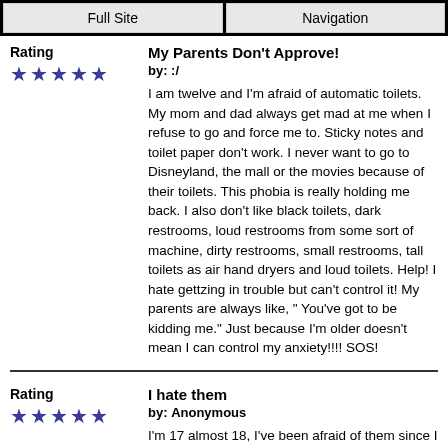Full Site | Navigation
Rating
[Figure (other): 5 purple stars rating]
My Parents Don't Approve!
by: :/
I am twelve and I'm afraid of automatic toilets. My mom and dad always get mad at me when I refuse to go and force me to. Sticky notes and toilet paper don't work. I never want to go to Disneyland, the mall or the movies because of their toilets. This phobia is really holding me back. I also don't like black toilets, dark restrooms, loud restrooms from some sort of machine, dirty restrooms, small restrooms, tall toilets as air hand dryers and loud toilets. Help! I hate gettzing in trouble but can't control it! My parents are always like, " You've got to be kidding me." Just because I'm older doesn't mean I can control my anxiety!!!! SOS!
Rating
[Figure (other): 5 purple stars rating]
I hate them
by: Anonymous
I'm 17 almost 18, I've been afraid of them since I was probably 4. Me and my grandma went to a Cracker Barrel bathroom and I went to use the bathroom and it almost flushed...